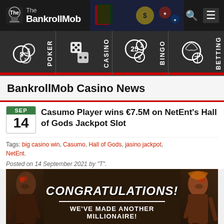The BankrollMob
[Figure (infographic): Navigation icons row: POKER (poker chips), CASINO (dice), BINGO (bingo balls with numbers 25, 1, 5), BETTING (soccer ball and baseball)]
BankrollMob Casino News
Casumo Player wins €7.5M on NetEnt's Hall of Gods Jackpot Slot
Tags: big casino win, Casumo, Hall of Gods, jasino jackpot, NetEnt.
Posted on 14 September 2021 by "T".
[Figure (photo): Congratulations banner for Hall of Gods jackpot win. Shows two warrior figures on left and right sides with text: CONGRATULATIONS! WE'VE MADE ANOTHER MILLIONAIRE! €7,595,435 and Hall of Gods logo at bottom.]